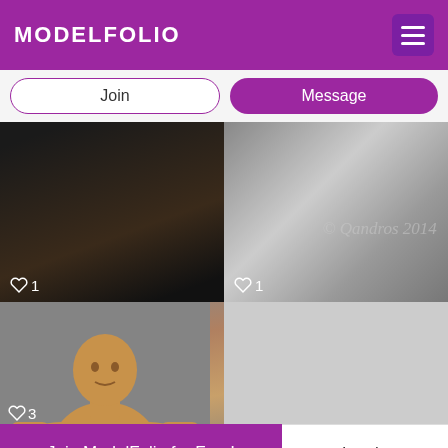MODELFOLIO
Join
Message
[Figure (photo): Dark close-up photo of a torso/body part against black background with heart like icon showing 1]
[Figure (photo): Black and white close-up photo of torso with watermark '© Qandros 2014', heart like icon showing 1]
[Figure (photo): Color photo of bald muscular man, shirtless, looking at camera against grey wall, heart like icon showing 3]
[Figure (photo): Blurred/greyed out photo placeholder]
Join ModelFolio for Free!
Log in
By using ModelFolio services you agree to our Cookie Use. We and our partners operate globally and use cookies for analytics, personalisation, and ads